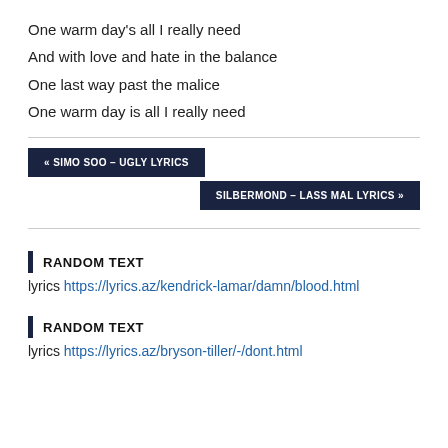One warm day’s all I really need
And with love and hate in the balance
One last way past the malice
One warm day is all I really need
« SIMO SOO – UGLY LYRICS
SILBERMOND – LASS MAL LYRICS »
RANDOM TEXT
lyrics https://lyrics.az/kendrick-lamar/damn/blood.html
RANDOM TEXT
lyrics https://lyrics.az/bryson-tiller/-/dont.html